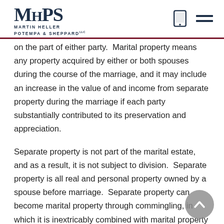MARTIN HELLER POTEMPA & SHEPPARD LLC
on the part of either party.  Marital property means any property acquired by either or both spouses during the course of the marriage, and it may include an increase in the value of and income from separate property during the marriage if each party substantially contributed to its preservation and appreciation.
Separate property is not part of the marital estate, and as a result, it is not subject to division.  Separate property is all real and personal property owned by a spouse before marriage.  Separate property can become marital property through commingling, in which it is inextricably combined with marital property